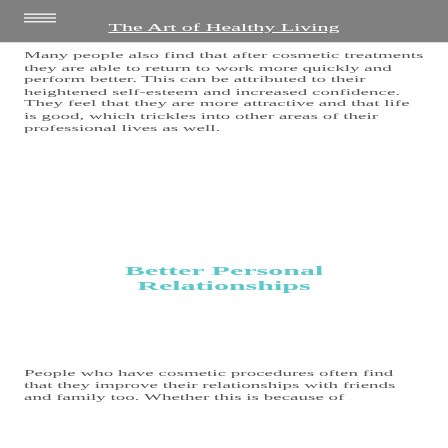The Art of Healthy Living
appearance and they otherwise meet all other requirements for the job.
Many people also find that after cosmetic treatments they are able to return to work more quickly and perform better. This can be attributed to their heightened self-esteem and increased confidence. They feel that they are more attractive and that life is good, which trickles into other areas of their professional lives as well.
Better Personal Relationships
People who have cosmetic procedures often find that they improve their relationships with friends and family too. Whether this is because of…